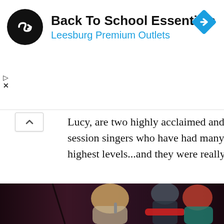[Figure (screenshot): Advertisement banner: Back To School Essentials at Leesburg Premium Outlets, with a circular black logo featuring an infinity-style arrow symbol and a blue diamond navigation icon on the right.]
Lucy, are two highly acclaimed and established West session singers who have had many years of experience highest levels...and they were really go
[Figure (photo): Concert photo showing two female performers on stage, one blonde holding a microphone and one with red hair, wearing teal/white outfits, with a male guitarist in the background.]